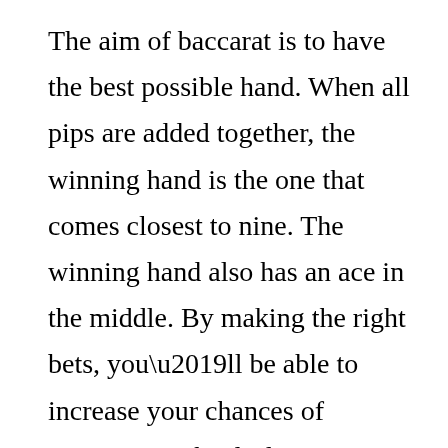The aim of baccarat is to have the best possible hand. When all pips are added together, the winning hand is the one that comes closest to nine. The winning hand also has an ace in the middle. By making the right bets, you'll be able to increase your chances of winning. With a little practice, you'll soon be a pro at baccarat. When you learn how to play baccarat, you'll have a better chance of winning.